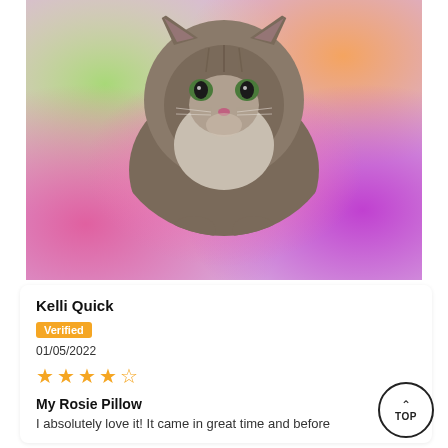[Figure (photo): A fluffy gray cat with green eyes centered in a circular crop, set against a colorful tie-dye style background with green, orange, pink, and purple hues.]
Kelli Quick
Verified
01/05/2022
★★★★☆ (4.5 stars)
My Rosie Pillow
I absolutely love it! It came in great time and before